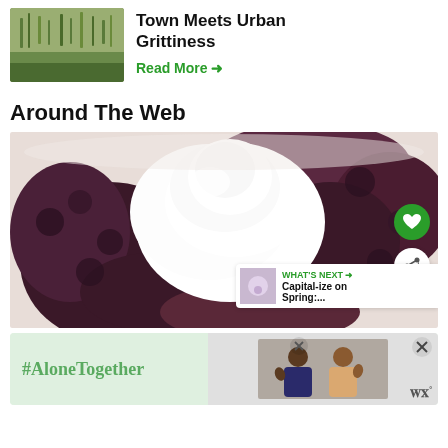[Figure (photo): Thumbnail image of tall grass/wetland vegetation]
Town Meets Urban Grittiness
Read More →
Around The Web
[Figure (photo): Close-up photo of a blueberry pie slice with whipped cream on top, with heart and share buttons overlay, and a 'What's Next' card showing 'Capital-ize on Spring:...']
[Figure (photo): Advertisement banner with #AloneTogether text on green background, and photo of two people on right side with close buttons]